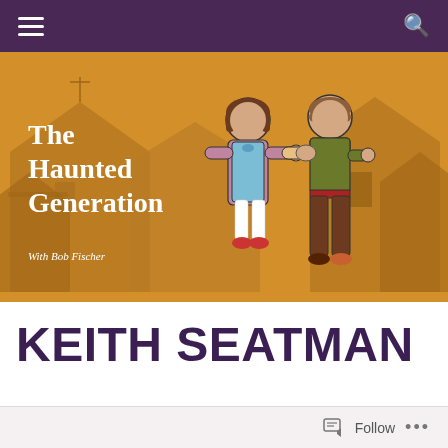Navigation bar with hamburger menu and search icon
[Figure (illustration): The Haunted Generation podcast banner illustration showing two retro-style illustrated children holding hands against an orange/golden background with house silhouettes. Text reads 'The Haunted Generation' and 'With Bob Fischer'.]
KEITH SEATMAN
Follow ...